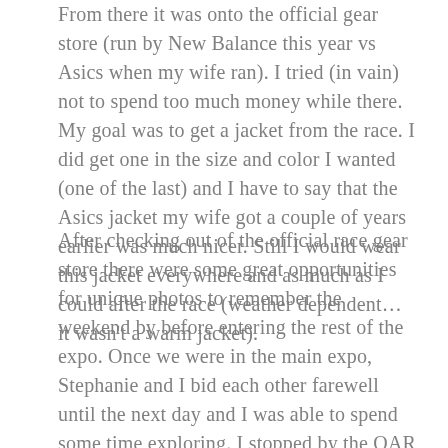From there it was onto the official gear store (run by New Balance this year vs Asics when my wife ran). I tried (in vain) not to spend too much money while there. My goal was to get a jacket from the race. I did get one in the size and color I wanted (one of the last) and I have to say that the Asics jacket my wife got a couple of years earlier was much nicer. Still I would wear this jacket everywhere and as much as I could after the race (weather dependent… it wasn't a warm jacket).
After checking out of the official race gear store there were some great opportunities for unique photos to remember the weekend by before entering the rest of the expo. Once we were in the main expo, Stephanie and I bid each other farewell until the next day and I was able to spend some time exploring. I stopped by the OAR booth and picked up my charity village wristband which would provide